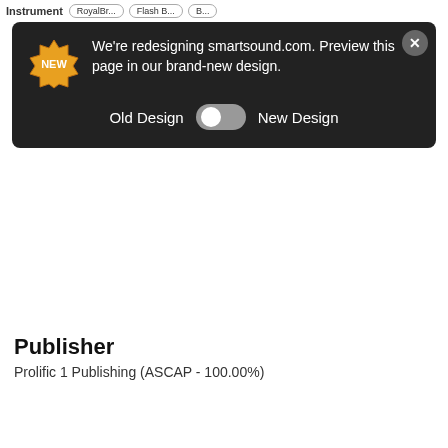Instrument | RoyalBr... | Flash B... | B...
[Figure (screenshot): Dark notification banner on smartsound.com website with a 'NEW' starburst badge, text 'We're redesigning smartsound.com. Preview this page in our brand-new design.', a toggle switch between 'Old Design' and 'New Design', and a close button.]
Publisher
Prolific 1 Publishing (ASCAP - 100.00%)
Royalty Free Music » Music Library »
Corporate Communications » Can Do...
Our website uses cookies to improve your user experience. If you continue browsing, we assume that you consent to our use of cookies. More information can be found in our Privacy Policy.
OK